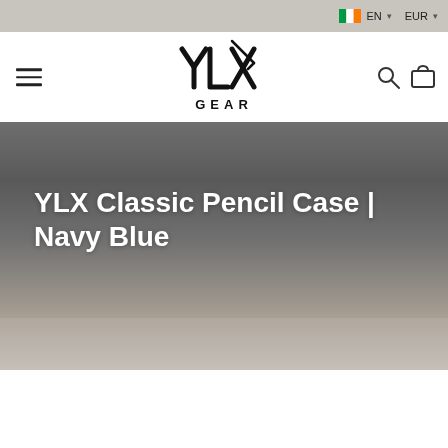EN EUR
[Figure (logo): YLX Gear logo — stylized YLX text with pencil icon above and GEAR text below]
YLX Classic Pencil Case | Navy Blue